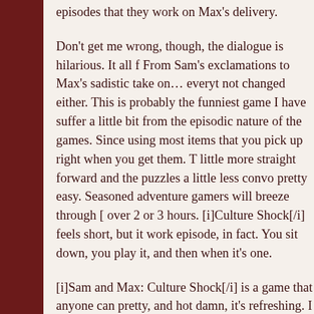episodes that they work on Max's delivery.
Don't get me wrong, though, the dialogue is hilarious. It all f From Sam's exclamations to Max's sadistic take on… everyt not changed either. This is probably the funniest game I have suffer a little bit from the episodic nature of the games. Since using most items that you pick up right when you get them. T little more straight forward and the puzzles a little less convo pretty easy. Seasoned adventure gamers will breeze through [ over 2 or 3 hours. [i]Culture Shock[/i] feels short, but it work episode, in fact. You sit down, you play it, and then when it's one.
[i]Sam and Max: Culture Shock[/i] is a game that anyone can pretty, and hot damn, it's refreshing. I look forward to seeing upcoming episodes. If you played Sam and Max back in the d this game. Go. Now. What are you waiting for?